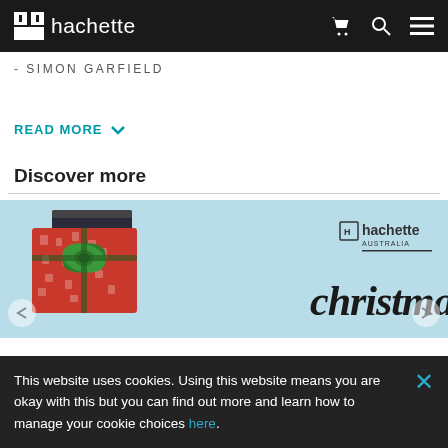hachette
- SIMON GARFIELD
READ MORE ∨
Discover more
[Figure (screenshot): Hachette Australia Christmas promotional banner with gift boxes in red Christmas wrapping paper and green bow on a light blue background, with 'hachette australia' logo and 'christmas' script text]
This website uses cookies. Using this website means you are okay with this but you can find out more and learn how to manage your cookie choices here.